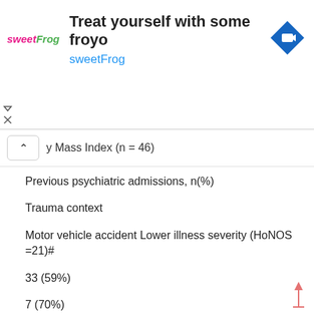[Figure (other): Advertisement banner for sweetFrog frozen yogurt with logo, text 'Treat yourself with some froyo', 'sweetFrog', and a navigation icon.]
y Mass Index (n = 46)
Previous psychiatric admissions, n(%)
Trauma context
Motor vehicle accident Lower illness severity (HoNOS =21)#
33 (59%)
7 (70%)
26 (55%)
Years since diagnosis, mean (SD)
2.7 (4.3)